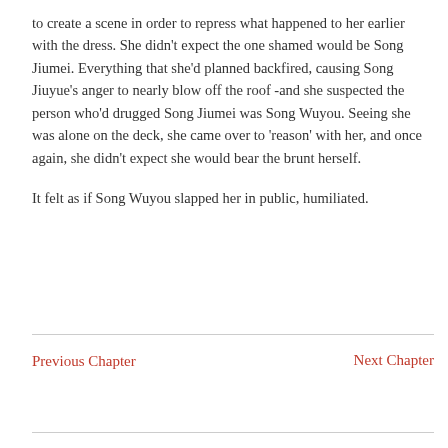to create a scene in order to repress what happened to her earlier with the dress. She didn't expect the one shamed would be Song Jiumei. Everything that she'd planned backfired, causing Song Jiuyue's anger to nearly blow off the roof -and she suspected the person who'd drugged Song Jiumei was Song Wuyou. Seeing she was alone on the deck, she came over to 'reason' with her, and once again, she didn't expect she would bear the brunt herself.

It felt as if Song Wuyou slapped her in public, humiliated.
Previous Chapter    Next Chapter